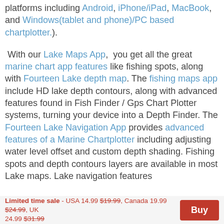platforms including Android, iPhone/iPad, MacBook, and Windows(tablet and phone)/PC based chartplotter.).
With our Lake Maps App, you get all the great marine chart app features like fishing spots, along with Fourteen Lake depth map. The fishing maps app include HD lake depth contours, along with advanced features found in Fish Finder / Gps Chart Plotter systems, turning your device into a Depth Finder. The Fourteen Lake Navigation App provides advanced features of a Marine Chartplotter including adjusting water level offset and custom depth shading. Fishing spots and depth contours layers are available in most Lake maps. Lake navigation features
Limited time sale - USA 14.99 $19.99, Canada 19.99 $24.99, UK 24.99 $31.99